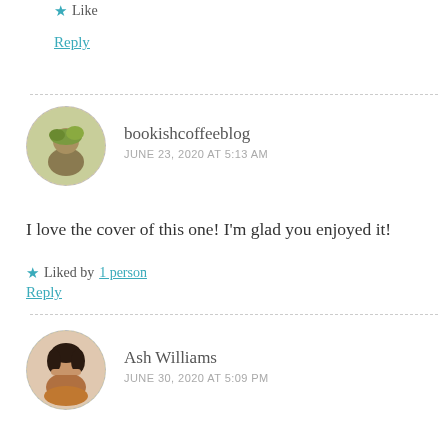★ Like
Reply
bookishcoffeeblog
JUNE 23, 2020 AT 5:13 AM
I love the cover of this one! I'm glad you enjoyed it!
★ Liked by 1 person
Reply
Ash Williams
JUNE 30, 2020 AT 5:09 PM